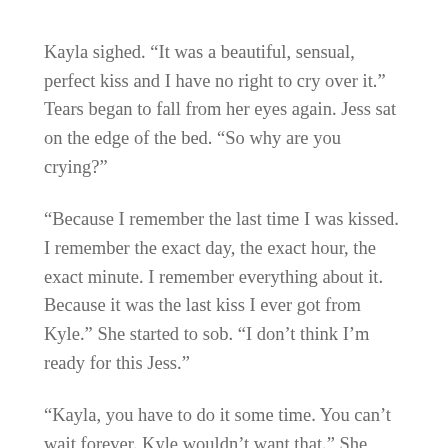Kayla sighed. “It was a beautiful, sensual, perfect kiss and I have no right to cry over it.” Tears began to fall from her eyes again. Jess sat on the edge of the bed. “So why are you crying?”
“Because I remember the last time I was kissed. I remember the exact day, the exact hour, the exact minute. I remember everything about it. Because it was the last kiss I ever got from Kyle.” She started to sob. “I don’t think I’m ready for this Jess.”
“Kayla, you have to do it some time. You can’t wait forever. Kyle wouldn’t want that.” She moved closer and rubbed her friend’s back. “You like Chris. I can tell by the way your eyes look when you talk about him.”